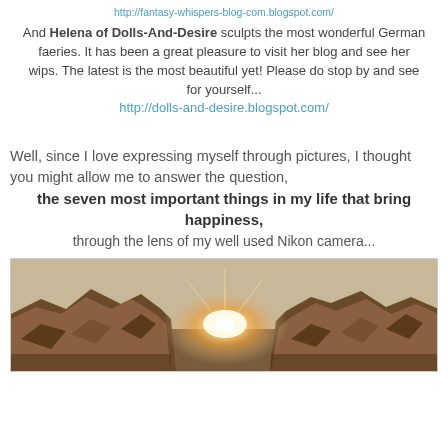http://fantasy-whispers-blog.com/ (truncated link at top)
And Helena of Dolls-And-Desire sculpts the most wonderful German faeries. It has been a great pleasure to visit her blog and see her wips. The latest is the most beautiful yet! Please do stop by and see for yourself... http://dolls-and-desire.blogspot.com/
Well, since I love expressing myself through pictures, I thought you might allow me to answer the question, the seven most important things in my life that bring happiness, through the lens of my well used Nikon camera...
[Figure (photo): Photograph of piles of rocks or firewood arranged in a row with a bright sunburst glowing from behind the center gap, warm golden tones.]